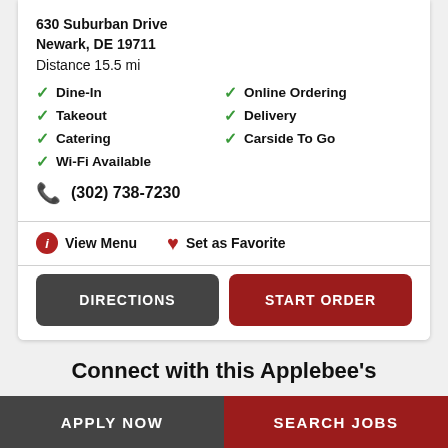630 Suburban Drive
Newark, DE 19711
Distance 15.5 mi
Dine-In
Online Ordering
Takeout
Delivery
Catering
Carside To Go
Wi-Fi Available
(302) 738-7230
View Menu
Set as Favorite
DIRECTIONS
START ORDER
Connect with this Applebee's
[Figure (screenshot): Social media icon placeholders (Yelp, Twitter, Instagram, Yelp)]
APPLY NOW
SEARCH JOBS